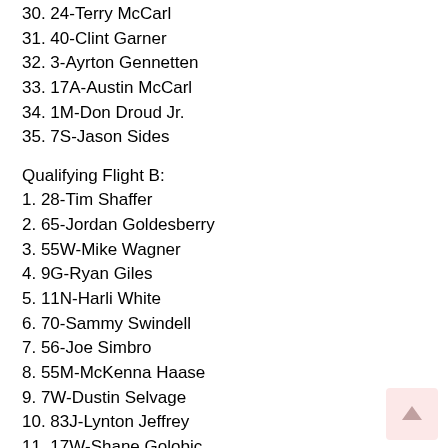30. 24-Terry McCarl
31. 40-Clint Garner
32. 3-Ayrton Gennetten
33. 17A-Austin McCarl
34. 1M-Don Droud Jr.
35. 7S-Jason Sides
Qualifying Flight B:
1. 28-Tim Shaffer
2. 65-Jordan Goldesberry
3. 55W-Mike Wagner
4. 9G-Ryan Giles
5. 11N-Harli White
6. 70-Sammy Swindell
7. 56-Joe Simbro
8. 55M-McKenna Haase
9. 7W-Dustin Selvage
10. 83J-Lynton Jeffrey
11. 17W-Shane Golobic
12. 10-Jeff Swindell